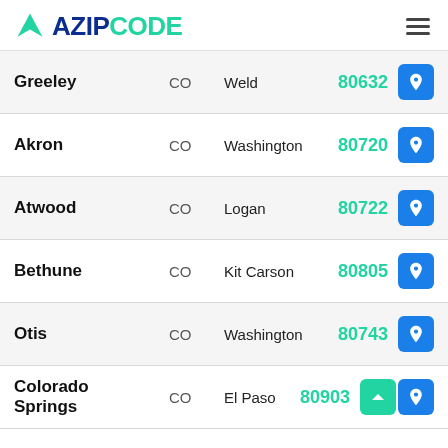AZIPCODE
| City | State | County | ZIP |
| --- | --- | --- | --- |
| Greeley | CO | Weld | 80632 |
| Akron | CO | Washington | 80720 |
| Atwood | CO | Logan | 80722 |
| Bethune | CO | Kit Carson | 80805 |
| Otis | CO | Washington | 80743 |
| Colorado Springs | CO | El Paso | 80903 |